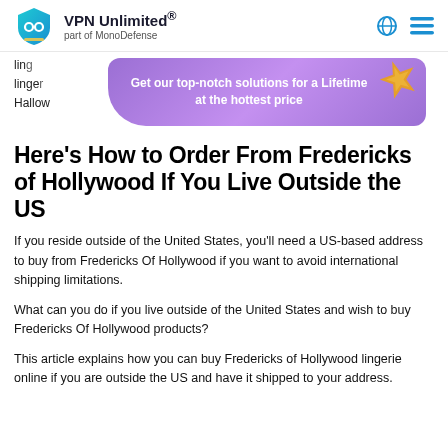VPN Unlimited® part of MonoDefense
[Figure (logo): VPN Unlimited teal shield logo with 'oo' symbol]
[Figure (infographic): Purple promotional banner: 'Get our top-notch solutions for a Lifetime at the hottest price' with starfish decoration]
Here's How to Order From Fredericks of Hollywood If You Live Outside the US
If you reside outside of the United States, you'll need a US-based address to buy from Fredericks Of Hollywood if you want to avoid international shipping limitations.
What can you do if you live outside of the United States and wish to buy Fredericks Of Hollywood products?
This article explains how you can buy Fredericks of Hollywood lingerie online if you are outside the US and have it shipped to your address.